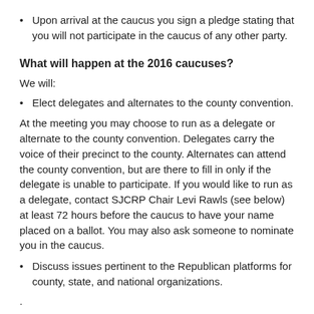Upon arrival at the caucus you sign a pledge stating that you will not participate in the caucus of any other party.
What will happen at the 2016 caucuses?
We will:
Elect delegates and alternates to the county convention.
At the meeting you may choose to run as a delegate or alternate to the county convention. Delegates carry the voice of their precinct to the county. Alternates can attend the county convention, but are there to fill in only if the delegate is unable to participate. If you would like to run as a delegate, contact SJCRP Chair Levi Rawls (see below) at least 72 hours before the caucus to have your name placed on a ballot. You may also ask someone to nominate you in the caucus.
Discuss issues pertinent to the Republican platforms for county, state, and national organizations.
.